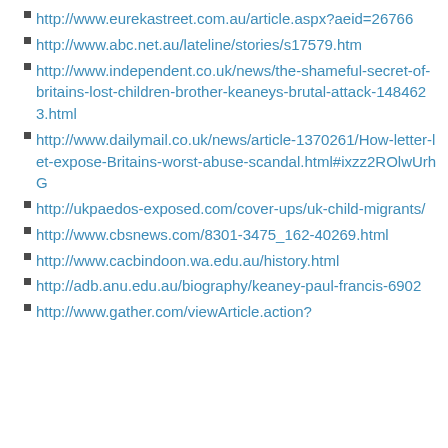http://www.eurekastreet.com.au/article.aspx?aeid=26766
http://www.abc.net.au/lateline/stories/s17579.htm
http://www.independent.co.uk/news/the-shameful-secret-of-britains-lost-children-brother-keaneys-brutal-attack-1484623.html
http://www.dailymail.co.uk/news/article-1370261/How-letter-let-expose-Britains-worst-abuse-scandal.html#ixzz2ROlwUrhG
http://ukpaedos-exposed.com/cover-ups/uk-child-migrants/
http://www.cbsnews.com/8301-3475_162-40269.html
http://www.cacbindoon.wa.edu.au/history.html
http://adb.anu.edu.au/biography/keaney-paul-francis-6902
http://www.gather.com/viewArticle.action?